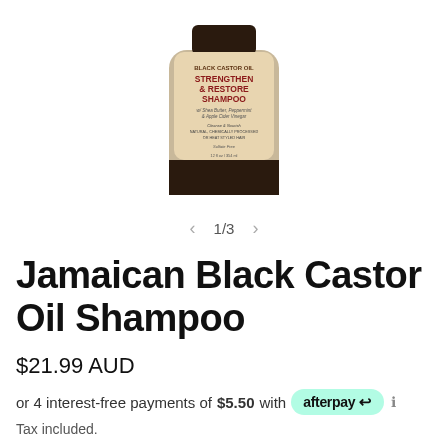[Figure (photo): A bottle of Jamaican Black Castor Oil Strengthen & Restore Shampoo with Shea Butter, Peppermint & Apple Cider Vinegar, 12 fl oz / 354 ml, Sulfate Free]
1/3
Jamaican Black Castor Oil Shampoo
$21.99 AUD
or 4 interest-free payments of $5.50 with afterpay
Tax included.
Quantity